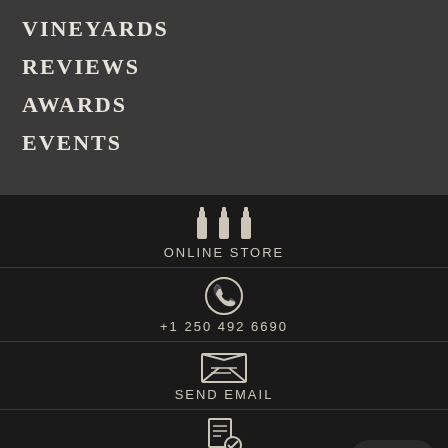VINEYARDS
REVIEWS
AWARDS
EVENTS
ONLINE STORE
+1 250 492 6690
SEND EMAIL
JOIN MAILING LIST
TOP